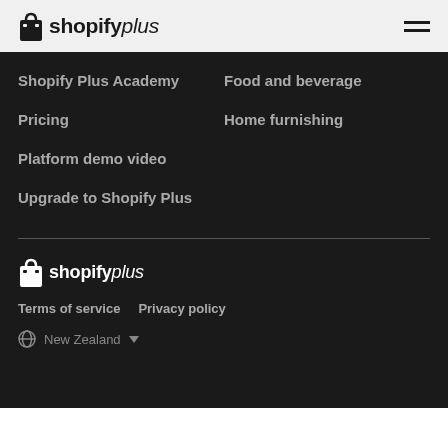Shopify Plus
Shopify Plus Academy
Food and beverage
Pricing
Home furnishing
Platform demo video
Upgrade to Shopify Plus
[Figure (logo): Shopify Plus logo in footer]
Terms of service    Privacy policy
⊕ New Zealand ▼